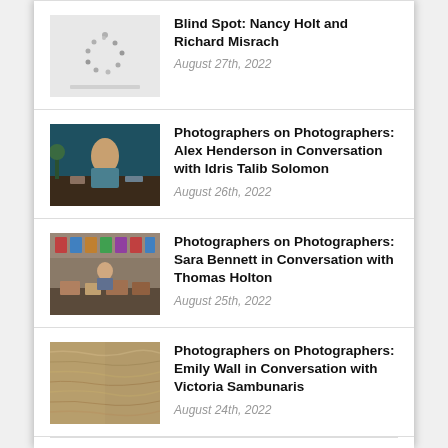Blind Spot: Nancy Holt and Richard Misrach
August 27th, 2022
Photographers on Photographers: Alex Henderson in Conversation with Idris Talib Solomon
August 26th, 2022
Photographers on Photographers: Sara Bennett in Conversation with Thomas Holton
August 25th, 2022
Photographers on Photographers: Emily Wall in Conversation with Victoria Sambunaris
August 24th, 2022